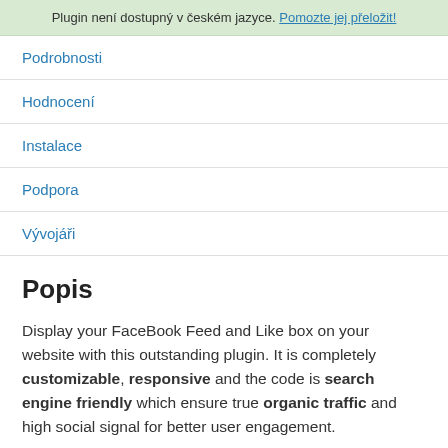Plugin není dostupný v českém jazyce. Pomozte jej přeložit!
Podrobnosti
Hodnocení
Instalace
Podpora
Vývojáři
Popis
Display your FaceBook Feed and Like box on your website with this outstanding plugin. It is completely customizable, responsive and the code is search engine friendly which ensure true organic traffic and high social signal for better user engagement.